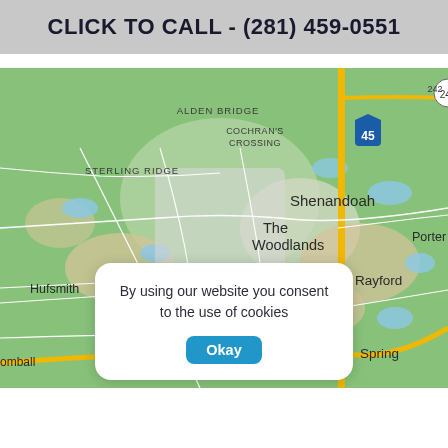CLICK TO CALL - (281) 459-0551
[Figure (map): Google Maps showing The Woodlands, TX area with surrounding communities including Alden Bridge, Cochran's Crossing, Sterling Ridge, Shenandoah, Hufsmith, Willow, Tomball, Rayford, Spring, and Porter Heights. Interstate 45 and highway 99/242 are visible.]
By using our website you consent to the use of cookies